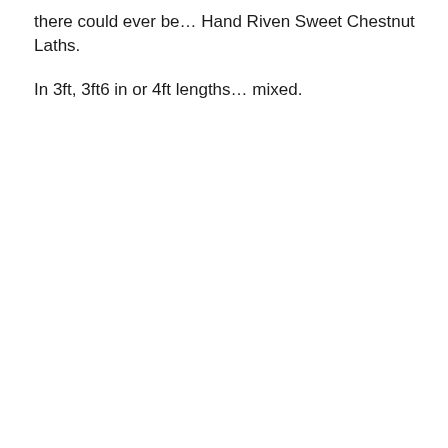there could ever be…  Hand Riven Sweet Chestnut Laths.
In 3ft, 3ft6 in or 4ft lengths…  mixed.